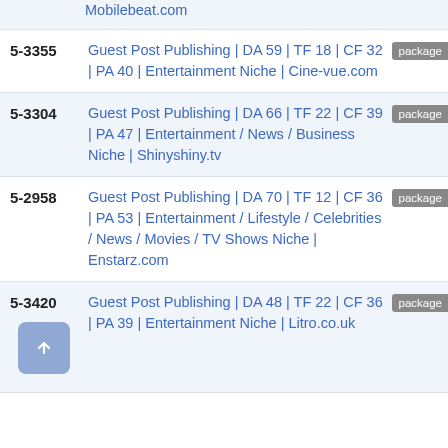Mobilebeat.com
5-3355 Guest Post Publishing | DA 59 | TF 18 | CF 32 | PA 40 | Entertainment Niche | Cine-vue.com [package]
5-3304 Guest Post Publishing | DA 66 | TF 22 | CF 39 | PA 47 | Entertainment / News / Business Niche | Shinyshiny.tv [package]
5-2958 Guest Post Publishing | DA 70 | TF 12 | CF 36 | PA 53 | Entertainment / Lifestyle / Celebrities / News / Movies / TV Shows Niche | Enstarz.com [package]
5-3420 Guest Post Publishing | DA 48 | TF 22 | CF 36 | PA 39 | Entertainment Niche | Litro.co.uk [package]